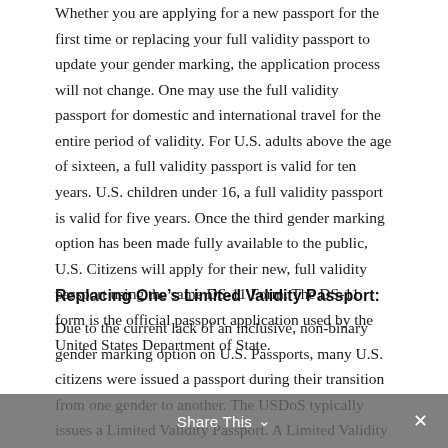Whether you are applying for a new passport for the first time or replacing your full validity passport to update your gender marking, the application process will not change. One may use the full validity passport for domestic and international travel for the entire period of validity. For U.S. adults above the age of sixteen, a full validity passport is valid for ten years. U.S. children under 16, a full validity passport is valid for five years. Once the third gender marking option has been made fully available to the public, U.S. Citizens will apply for their new, full validity passport using the same DS-11 Form. The DS-11 form is the official passport application used by the United States Department of State.
Replacing One's Limited Validity Passport:
Due to the current lack of an inclusive, non-binary gender marking option on U.S. Passports, many U.S. citizens were issued a passport during their transition from one gender to another. The USDoS typically issues a Limited Validity Passport. A Limited Validity Passport is a passport the USDos issues to a U.S. Citizen for a period that is less than ten years for adults and five years or less for children. For individuals wishing to update their passport upon the Gender X Marker becoming publicly available, the U.S.
Share This ∨  ×